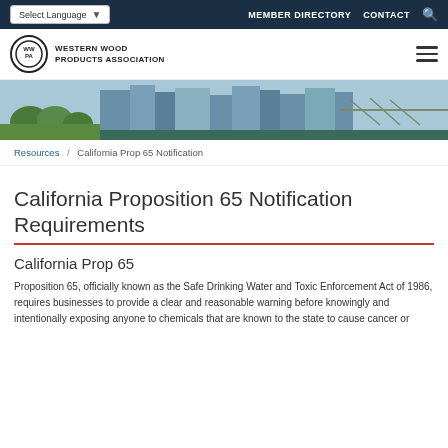Select Language | MEMBER DIRECTORY  CONTACT
[Figure (logo): Western Wood Products Association logo with circular WWPA emblem and text]
[Figure (photo): Cityscape photo showing trees, buildings, and a bridge over a river]
Resources / California Prop 65 Notification
California Proposition 65 Notification Requirements
California Prop 65
Proposition 65, officially known as the Safe Drinking Water and Toxic Enforcement Act of 1986, requires businesses to provide a clear and reasonable warning before knowingly and intentionally exposing anyone to chemicals that are known to the state to cause cancer or